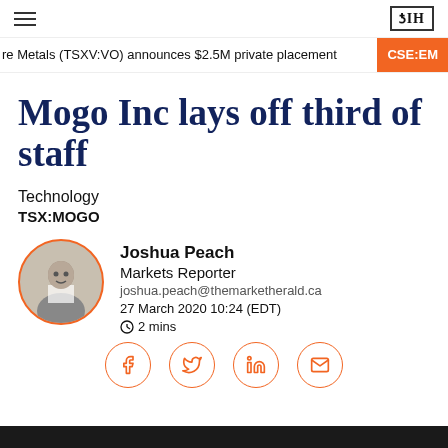TMH logo and hamburger menu
re Metals (TSXV:VO) announces $2.5M private placement   CSE:EM
Mogo Inc lays off third of staff
Technology
TSX:MOGO
Joshua Peach
Markets Reporter
joshua.peach@themarketherald.ca
27 March 2020 10:24 (EDT)
⏱ 2 mins